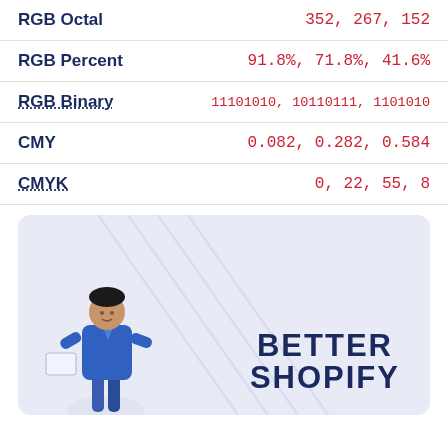| Property | Value |
| --- | --- |
| RGB Octal | 352, 267, 152 |
| RGB Percent | 91.8%, 71.8%, 41.6% |
| RGB Binary | 11101010, 10110111, 1101010 |
| CMY | 0.082, 0.282, 0.584 |
| CMYK | 0, 22, 55, 8 |
[Figure (illustration): Advertisement banner with light purple/lavender background, a person figure on the left, diagonal decorative lines, and bold navy text reading BETTER SHOPIFY on the right]